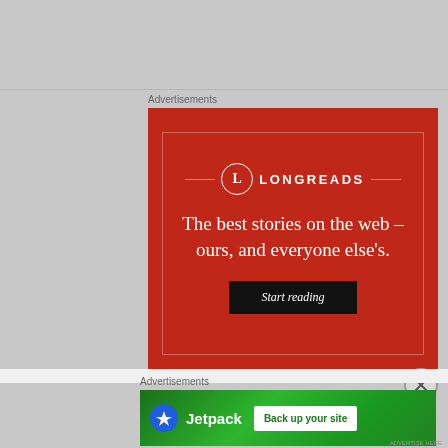Advertisements
[Figure (illustration): Longreads advertisement on red background. Shows the Longreads logo (L in circle) with tagline 'The best stories on the web – ours, and everyone else's.' and a 'Start reading' button.]
Advertisements
[Figure (illustration): Jetpack advertisement on green gradient background. Shows Jetpack logo with lightning bolt icon, brand name 'Jetpack', and a white button reading 'Back up your site'.]